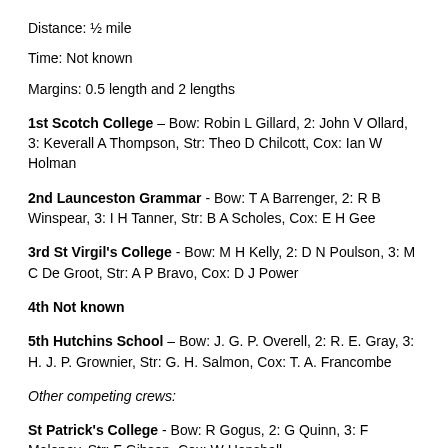Distance: ½ mile
Time: Not known
Margins: 0.5 length and 2 lengths
1st Scotch College – Bow: Robin L Gillard, 2: John V Ollard, 3: Keverall A Thompson, Str: Theo D Chilcott, Cox: Ian W Holman
2nd Launceston Grammar - Bow: T A Barrenger, 2: R B Winspear, 3: I H Tanner, Str: B A Scholes, Cox: E H Gee
3rd St Virgil's College - Bow: M H Kelly, 2: D N Poulson, 3: M C De Groot, Str: A P Bravo, Cox: D J Power
4th Not known
5th Hutchins School – Bow: J. G. P. Overell, 2: R. E. Gray, 3: H. J. P. Grownier, Str: G. H. Salmon, Cox: T. A. Francombe
Other competing crews:
St Patrick's College - Bow: R Gogus, 2: G Quinn, 3: F Maloney, Str: F Gibson, Cox: W Henshall